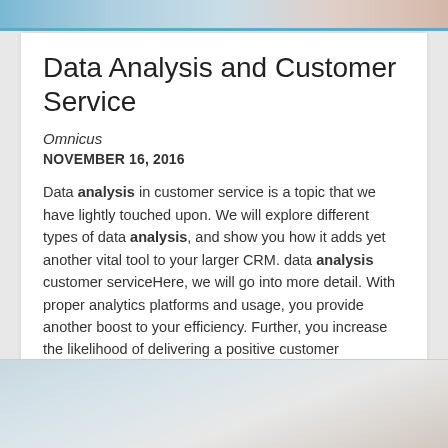[Figure (photo): Top banner image strip showing blurred people or scene in muted blue and warm tones]
Data Analysis and Customer Service
Omnicus
NOVEMBER 16, 2016
Data analysis in customer service is a topic that we have lightly touched upon. We will explore different types of data analysis, and show you how it adds yet another vital tool to your larger CRM. data analysis customer serviceHere, we will go into more detail. With proper analytics platforms and usage, you provide another boost to your efficiency. Further, you increase the likelihood of delivering a positive customer experience.
[Figure (photo): Bottom partial image showing blurred desk/paper scene in light grey and warm tones]